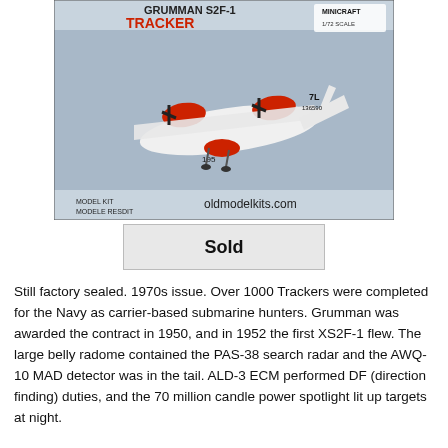[Figure (photo): Photo of a Grumman S2F-1 Tracker model kit box from Minicraft/Hasegawa, 1/72 scale. The box shows a painted scale model of the aircraft with white and red colors, markings '7L 136590' and '195'. Text on box reads 'GRUMMAN S2F-1 TRACKER', 'MODEL KIT MODELE RESULT', 'oldmodelkits.com', 'MINICRAFT', '1/72 SCALE'.]
Sold
Still factory sealed. 1970s issue. Over 1000 Trackers were completed for the Navy as carrier-based submarine hunters. Grumman was awarded the contract in 1950, and in 1952 the first XS2F-1 flew. The large belly radome contained the PAS-38 search radar and the AWQ-10 MAD detector was in the tail. ALD-3 ECM performed DF (direction finding) duties, and the 70 million candle power spotlight lit up targets at night.